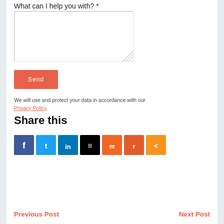What can I help you with? *
[Figure (screenshot): Text area input field with resize handle]
[Figure (screenshot): Send button with orange-red background]
We will use and protect your data in accordance with our Privacy Policy.
Share this
[Figure (infographic): Social sharing icons: Facebook, Twitter, LinkedIn, Buffer/Stacks, Mix, Reddit, Share (orange)]
Previous Post
Next Post